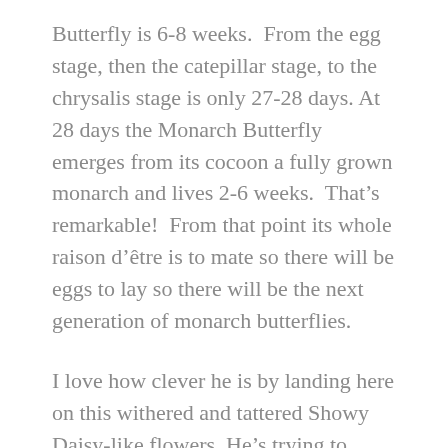Butterfly is 6-8 weeks. From the egg stage, then the catepillar stage, to the chrysalis stage is only 27-28 days. At 28 days the Monarch Butterfly emerges from its cocoon a fully grown monarch and lives 2-6 weeks. That's remarkable! From that point its whole raison d'être is to mate so there will be eggs to lay so there will be the next generation of monarch butterflies.
I love how clever he is by landing here on this withered and tattered Showy Daisy-like flowers. He's trying to blend in I believe.